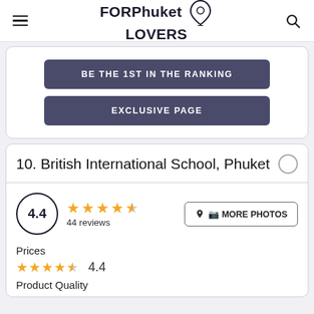FORPhuket LOVERS
BE THE 1ST IN THE RANKING
EXCLUSIVE PAGE
10. British International School, Phuket
4.4 — 44 reviews — MORE PHOTOS
Prices
4.4
Product Quality